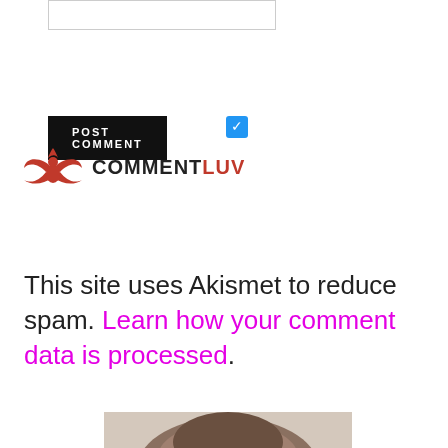[Figure (screenshot): Input text box (form field), empty, with border]
[Figure (screenshot): Black POST COMMENT button with white uppercase text]
[Figure (screenshot): Blue checkbox with white checkmark, checked state]
[Figure (logo): CommentLuv logo with red bird/wings icon and text COMMENTLUV where LUV is in red]
This site uses Akismet to reduce spam. Learn how your comment data is processed.
[Figure (photo): Partial photo of a person's head/hair, cropped at bottom of page]